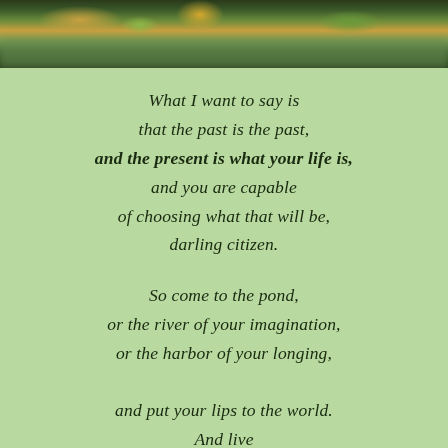[Figure (photo): Photograph of a pond or river with autumn-colored trees reflected in the water, dock visible, top portion of page]
What I want to say is
that the past is the past,
and the present is what your life is,
and you are capable
of choosing what that will be,
darling citizen.

So come to the pond,
or the river of your imagination,
or the harbor of your longing,

and put your lips to the world.
And live
your life.